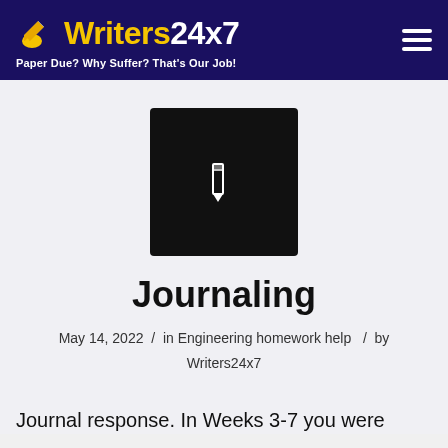[Figure (logo): Writers24x7 logo with pencil icon on dark navy background and tagline 'Paper Due? Why Suffer? That's Our Job!']
[Figure (illustration): Black square icon with white pencil/edit symbol in the center]
Journaling
May 14, 2022 / in Engineering homework help / by Writers24x7
Journal response. In Weeks 3-7 you were